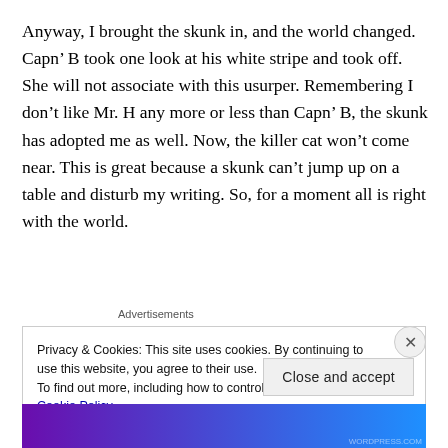Anyway, I brought the skunk in, and the world changed. Capn’ B took one look at his white stripe and took off. She will not associate with this usurper. Remembering I don’t like Mr. H any more or less than Capn’ B, the skunk has adopted me as well. Now, the killer cat won’t come near. This is great because a skunk can’t jump up on a table and disturb my writing. So, for a moment all is right with the world.
Advertisements
Privacy & Cookies: This site uses cookies. By continuing to use this website, you agree to their use.
To find out more, including how to control cookies, see here: Cookie Policy
Close and accept